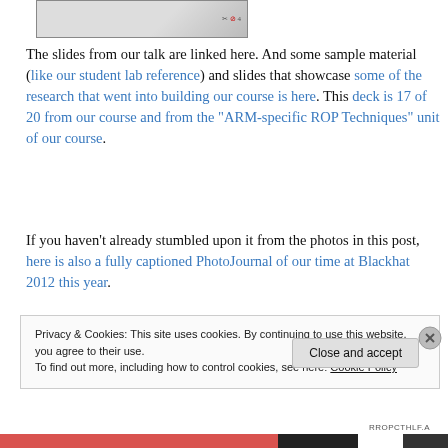[Figure (screenshot): Thumbnail image of a slide or document with icons on the right side]
The slides from our talk are linked here. And some sample material (like our student lab reference) and slides that showcase some of the research that went into building our course is here. This deck is 17 of 20 from our course and from the “ARM-specific ROP Techniques” unit of our course.
If you haven’t already stumbled upon it from the photos in this post, here is also a fully captioned PhotoJournal of our time at Blackhat 2012 this year.
Privacy & Cookies: This site uses cookies. By continuing to use this website, you agree to their use.
To find out more, including how to control cookies, see here: Cookie Policy